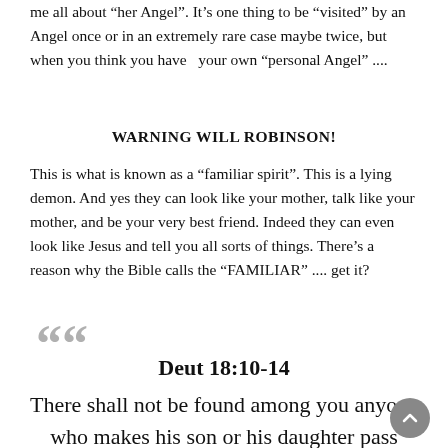me all about “her Angel”. It’s one thing to be “visited” by an Angel once or in an extremely rare case maybe twice, but when you think you have  your own “personal Angel” ....
WARNING WILL ROBINSON!
This is what is known as a “familiar spirit”.  This is a lying demon.  And yes they can look like your mother, talk like your mother, and be your very best friend.  Indeed they can even look like Jesus and tell you all sorts of things.  There’s a reason why the Bible calls the “FAMILIAR” .... get it?
““
Deut 18:10-14
There shall not be found among you anyone who makes his son or his daughter pass through the fire, or one who practices witchcraft, or